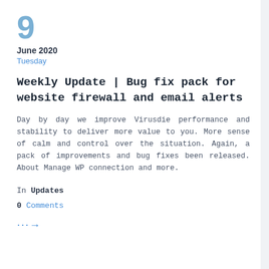9
June 2020
Tuesday
Weekly Update | Bug fix pack for website firewall and email alerts
Day by day we improve Virusdie performance and stability to deliver more value to you. More sense of calm and control over the situation. Again, a pack of improvements and bug fixes been released. About Manage WP connection and more.
In Updates
0 Comments
-->